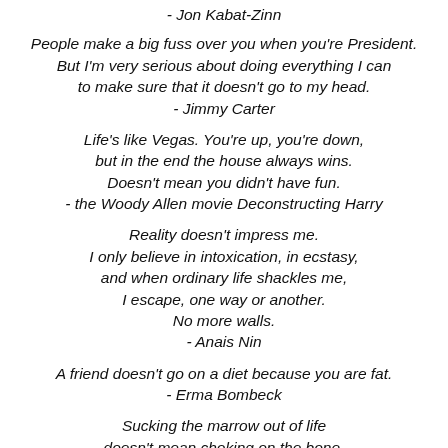- Jon Kabat-Zinn
People make a big fuss over you when you're President. But I'm very serious about doing everything I can to make sure that it doesn't go to my head. - Jimmy Carter
Life's like Vegas. You're up, you're down, but in the end the house always wins. Doesn't mean you didn't have fun. - the Woody Allen movie Deconstructing Harry
Reality doesn't impress me. I only believe in intoxication, in ecstasy, and when ordinary life shackles me, I escape, one way or another. No more walls. - Anais Nin
A friend doesn't go on a diet because you are fat. - Erma Bombeck
Sucking the marrow out of life doesn't mean choking on the bone. - Robin Williams as John Keating